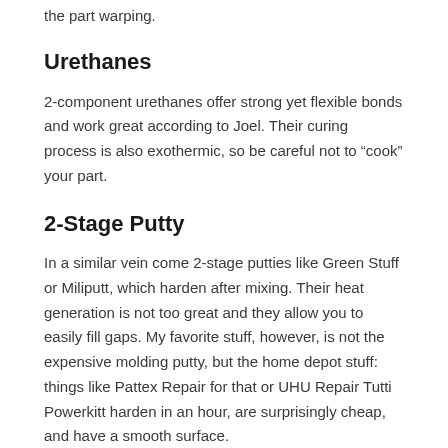the part warping.
Urethanes
2-component urethanes offer strong yet flexible bonds and work great according to Joel. Their curing process is also exothermic, so be careful not to “cook” your part.
2-Stage Putty
In a similar vein come 2-stage putties like Green Stuff or Miliputt, which harden after mixing. Their heat generation is not too great and they allow you to easily fill gaps. My favorite stuff, however, is not the expensive molding putty, but the home depot stuff: things like Pattex Repair for that or UHU Repair Tutti Powerkitt harden in an hour, are surprisingly cheap, and have a smooth surface.